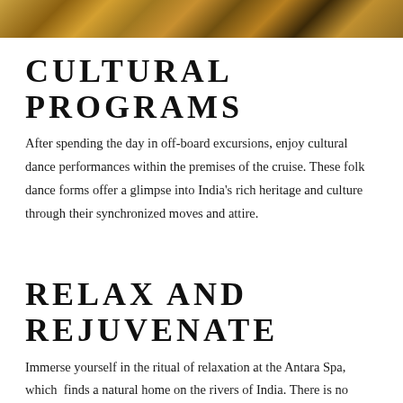[Figure (photo): Partial view of a dancer in colorful yellow/orange traditional Indian costume with gold ornaments]
CULTURAL PROGRAMS
After spending the day in off-board excursions, enjoy cultural dance performances within the premises of the cruise. These folk dance forms offer a glimpse into India's rich heritage and culture through their synchronized moves and attire.
RELAX AND REJUVENATE
Immerse yourself in the ritual of relaxation at the Antara Spa, which finds a natural home on the rivers of India. There is no better place to experience yoga than on the sacred rivers of India, where it was born.